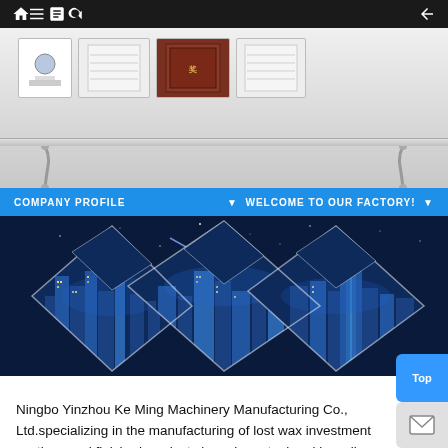Navigation bar with home, menu, book, search, and back icons
[Figure (photo): A display shelf with certificates and awards, mounted on a wall. Shelf is glass/metal with two metal brackets.]
[Figure (infographic): Blue navigation strip with 'COMPANY PROFILE' on left and 'WELCOME TO OUR FACTORY!' with triangle bullets on right]
[Figure (photo): Decorative diamond-shaped collage of city skyline photos at night on a dark blue background]
[Figure (infographic): ABOUT US | COMPANY PROFILE label box with border]
Ningbo Yinzhou Ke Ming Machinery Manufacturing Co., Ltd.specializing in the manufacturing of lost wax investment castings and finished products in carbon steel and low alloy steel, is a supplier of investment castings with water glass process in China. It consists of 2 major facilities, both steel casting foundry and CNC machining factory,which enable us to supply both precision castings and